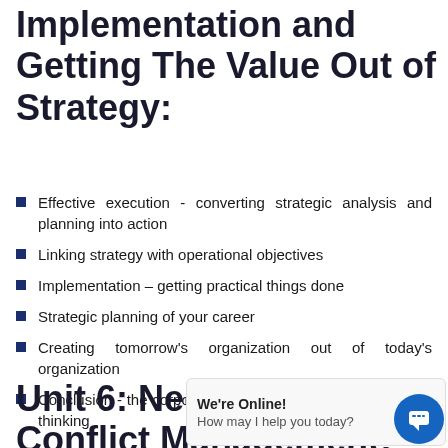Implementation and Getting The Value Out of Strategy:
Effective execution - converting strategic analysis and planning into action
Linking strategy with operational objectives
Implementation – getting practical things done
Strategic planning of your career
Creating tomorrow's organization out of today's organization
Conclusion - the corporate and individual value of strategic thinking
Unit 6: Negotiation and Conflict Management: